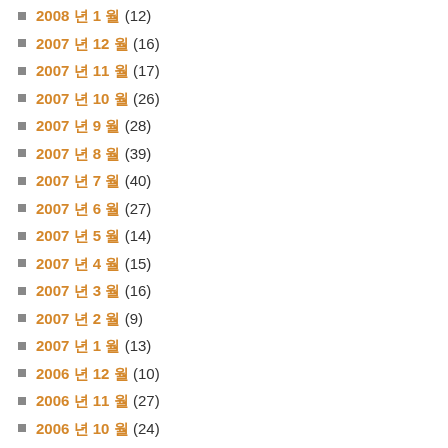2008년 1월 (12)
2007년 12월 (16)
2007년 11월 (17)
2007년 10월 (26)
2007년 9월 (28)
2007년 8월 (39)
2007년 7월 (40)
2007년 6월 (27)
2007년 5월 (14)
2007년 4월 (15)
2007년 3월 (16)
2007년 2월 (9)
2007년 1월 (13)
2006년 12월 (10)
2006년 11월 (27)
2006년 10월 (24)
2006년 9월 (25)
2006년 8월 (19)
2006년 7월 (12)
2006년 6월 (16)
2006년 5월 (2)